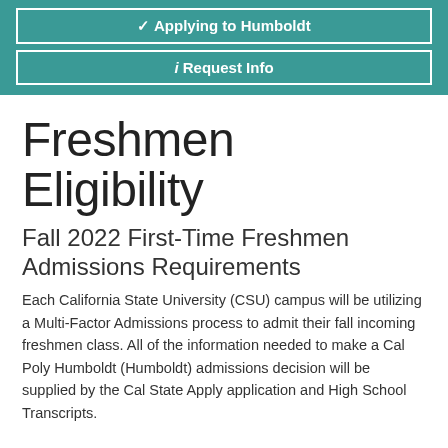✔ Applying to Humboldt
ℹ Request Info
Freshmen Eligibility
Fall 2022 First-Time Freshmen Admissions Requirements
Each California State University (CSU) campus will be utilizing a Multi-Factor Admissions process to admit their fall incoming freshmen class. All of the information needed to make a Cal Poly Humboldt (Humboldt) admissions decision will be supplied by the Cal State Apply application and High School Transcripts.